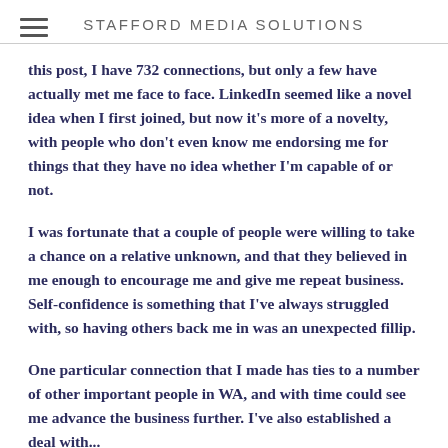STAFFORD MEDIA SOLUTIONS
this post, I have 732 connections, but only a few have actually met me face to face. LinkedIn seemed like a novel idea when I first joined, but now it's more of a novelty, with people who don't even know me endorsing me for things that they have no idea whether I'm capable of or not.
I was fortunate that a couple of people were willing to take a chance on a relative unknown, and that they believed in me enough to encourage me and give me repeat business. Self-confidence is something that I've always struggled with, so having others back me in was an unexpected fillip.
One particular connection that I made has ties to a number of other important people in WA, and with time could see me advance the business further. I've also established a deal with...